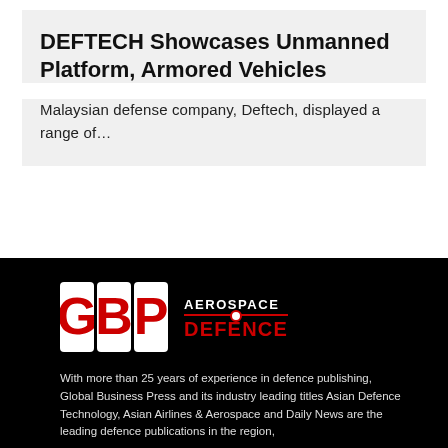DEFTECH Showcases Unmanned Platform, Armored Vehicles
Malaysian defense company, Deftech, displayed a range of…
[Figure (logo): GBP Aerospace & Defence logo — white and red G, B, P letters on black background, with 'AEROSPACE' in white and 'DEFENCE' in red bold text]
With more than 25 years of experience in defence publishing, Global Business Press and its industry leading titles Asian Defence Technology, Asian Airlines & Aerospace and Daily News are the leading defence publications in the region,